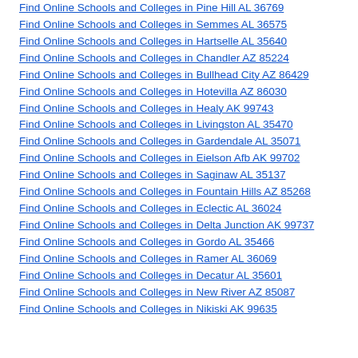Find Online Schools and Colleges in Pine Hill AL 36769
Find Online Schools and Colleges in Semmes AL 36575
Find Online Schools and Colleges in Hartselle AL 35640
Find Online Schools and Colleges in Chandler AZ 85224
Find Online Schools and Colleges in Bullhead City AZ 86429
Find Online Schools and Colleges in Hotevilla AZ 86030
Find Online Schools and Colleges in Healy AK 99743
Find Online Schools and Colleges in Livingston AL 35470
Find Online Schools and Colleges in Gardendale AL 35071
Find Online Schools and Colleges in Eielson Afb AK 99702
Find Online Schools and Colleges in Saginaw AL 35137
Find Online Schools and Colleges in Fountain Hills AZ 85268
Find Online Schools and Colleges in Eclectic AL 36024
Find Online Schools and Colleges in Delta Junction AK 99737
Find Online Schools and Colleges in Gordo AL 35466
Find Online Schools and Colleges in Ramer AL 36069
Find Online Schools and Colleges in Decatur AL 35601
Find Online Schools and Colleges in New River AZ 85087
Find Online Schools and Colleges in Nikiski AK 99635